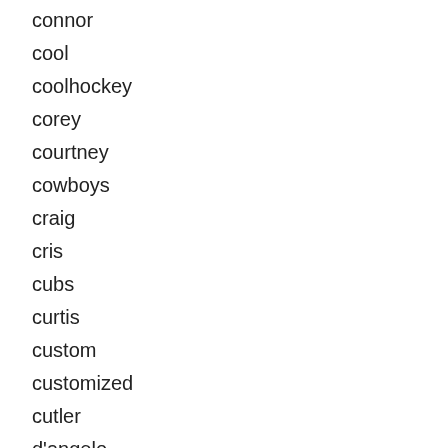connor
cool
coolhockey
corey
courtney
cowboys
craig
cris
cubs
curtis
custom
customized
cutler
d'angelo
d'arnaud
da'norris
dallas
daniel
danilo
danny
dante